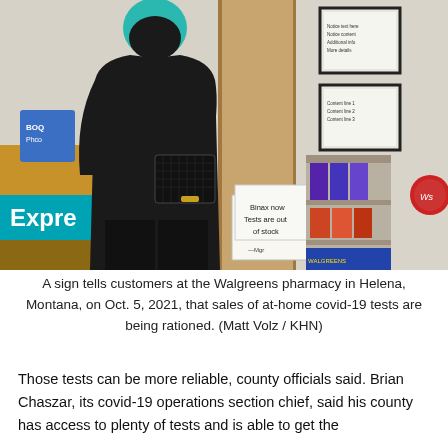[Figure (photo): A person with teal/blue hair wearing a black hoodie and carrying a black quilted purse stands at a Walgreens pharmacy counter. A sign on a wooden divider reads 'Binax now Tests are out of stock.' Another sign above it contains additional text. Framed notices hang on the wall behind. A Walgreens Express sign is visible on the left.]
A sign tells customers at the Walgreens pharmacy in Helena, Montana, on Oct. 5, 2021, that sales of at-home covid-19 tests are being rationed. (Matt Volz / KHN)
Those tests can be more reliable, county officials said. Brian Chaszar, its covid-19 operations section chief, said his county has access to plenty of tests and is able to get the